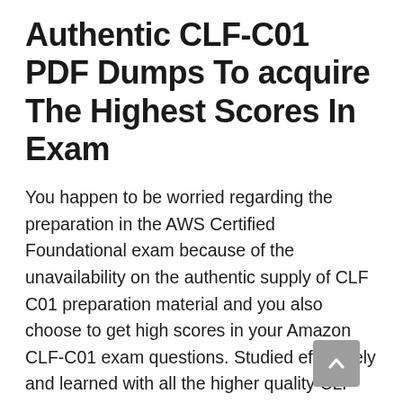Authentic CLF-C01 PDF Dumps To acquire The Highest Scores In Exam
You happen to be worried regarding the preparation in the AWS Certified Foundational exam because of the unavailability on the authentic supply of CLF C01 preparation material and you also choose to get high scores in your Amazon CLF-C01 exam questions. Studied effectively and learned with all the higher quality CLF-C01 exam dumps. This is achievable whenever you know the most effective method to prepare for your CLF-C01 exam. There are many techniques to help you understand with CLF-C01 pdf dumps proficiently. You need to enhance your understanding habits to work very best for your